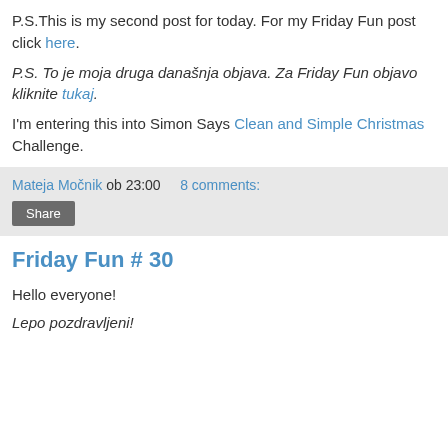P.S.This is my second post for today. For my Friday Fun post click here.
P.S. To je moja druga današnja objava. Za Friday Fun objavo kliknite tukaj.
I'm entering this into Simon Says Clean and Simple Christmas Challenge.
Mateja Močnik ob 23:00   8 comments:
Share
Friday Fun # 30
Hello everyone!
Lepo pozdravljeni!